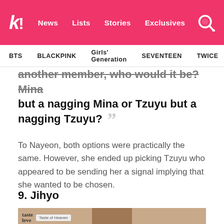k! News Lists Stories Exclusives
BTS BLACKPINK Girls' Generation SEVENTEEN TWICE
another member, who would it be? Mina but a nagging Mina or Tzuyu but a nagging Tzuyu? "
To Nayeon, both options were practically the same. However, she ended up picking Tzuyu who appeared to be sending her a signal implying that she wanted to be chosen.
9. Jihyo
[Figure (photo): Screenshot from Taste of Heaven show featuring a person with dark hair against a tan/beige background, with show logo in top left corner]